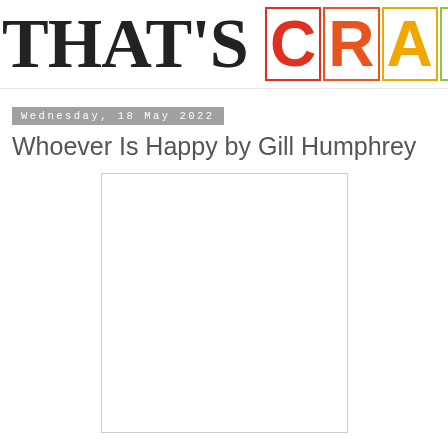THAT'S CRAFTY!
Wednesday, 18 May 2022
Whoever Is Happy by Gill Humphrey
[Figure (photo): Blank white image placeholder with light gray border]